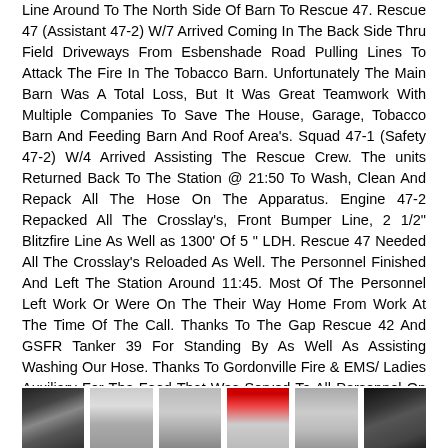Line Around To The North Side Of Barn To Rescue 47. Rescue 47 (Assistant 47-2) W/7 Arrived Coming In The Back Side Thru Field Driveways From Esbenshade Road Pulling Lines To Attack The Fire In The Tobacco Barn. Unfortunately The Main Barn Was A Total Loss, But It Was Great Teamwork With Multiple Companies To Save The House, Garage, Tobacco Barn And Feeding Barn And Roof Area's. Squad 47-1 (Safety 47-2) W/4 Arrived Assisting The Rescue Crew. The units Returned Back To The Station @ 21:50 To Wash, Clean And Repack All The Hose On The Apparatus. Engine 47-2 Repacked All The Crosslay's, Front Bumper Line, 2 1/2" Blitzfire Line As Well as 1300' Of 5 " LDH. Rescue 47 Needed All The Crosslay's Reloaded As Well. The Personnel Finished And Left The Station Around 11:45. Most Of The Personnel Left Work Or Were On The Their Way Home From Work At The Time Of The Call. Thanks To The Gap Rescue 42 And GSFR Tanker 39 For Standing By As Well As Assisting Washing Our Hose. Thanks To Gordonville Fire & EMS/ Ladies Auxiliary For The Food That Was Served To All Personnel On The Fireground. Pictures From Lancaster Online & Edmund's Photo's.
[Figure (photo): Six fire scene photographs shown in a row at the bottom of the page]